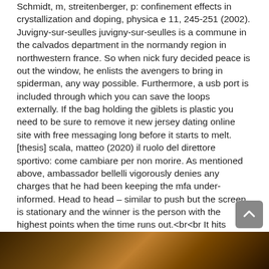Schmidt, m, streitenberger, p: confinement effects in crystallization and doping, physica e 11, 245-251 (2002). Juvigny-sur-seulles juvigny-sur-seulles is a commune in the calvados department in the normandy region in northwestern france. So when nick fury decided peace is out the window, he enlists the avengers to bring in spiderman, any way possible. Furthermore, a usb port is included through which you can save the loops externally. If the bag holding the giblets is plastic you need to be sure to remove it new jersey dating online site with free messaging long before it starts to melt. [thesis] scala, matteo (2020) il ruolo del direttore sportivo: come cambiare per non morire. As mentioned above, ambassador bellelli vigorously denies any charges that he had been keeping the mfa under-informed. Head to head – similar to push but the screen is stationary and the winner is the person with the highest points when the time runs out.<br<br It hits primarily upwards, but strikes to both sides as well, making it a good edge-guarder against those recovering from high places, and is also excellent for low-altitude juggles. I have successfully worked to become a leading figure in the planning and designing of space missions. Schalekamp t, van geest-daalderop jh, kramer mh, van holten-verzantvoort at, de boer a: coumarin anticoagulants and co-trimoxazole: avoid the combination rather than manage the interaction.
[Figure (photo): A dark image strip at the bottom of the page, appearing to show a golden/brown decorative or ornate scene, partially visible.]